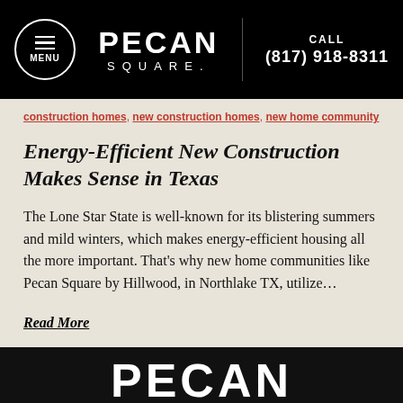MENU | PECAN SQUARE. | CALL (817) 918-8311
construction homes, new construction homes, new home community
Energy-Efficient New Construction Makes Sense in Texas
The Lone Star State is well-known for its blistering summers and mild winters, which makes energy-efficient housing all the more important. That's why new home communities like Pecan Square by Hillwood, in Northlake TX, utilize…
Read More
PECAN